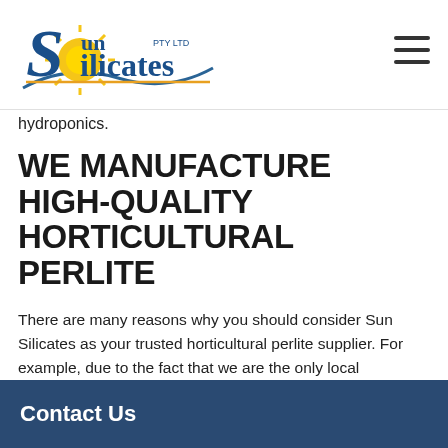Sun Silicates PTY LTD — logo and navigation
hydroponics.
WE MANUFACTURE HIGH-QUALITY HORTICULTURAL PERLITE
There are many reasons why you should consider Sun Silicates as your trusted horticultural perlite supplier. For example, due to the fact that we are the only local manufacturer of both perlite and vermiculite. Furthermore we are in a unique position to supply premixed products that are custom-made to our customer's requirements. For more information about our horticultural perlite...
Contact Us